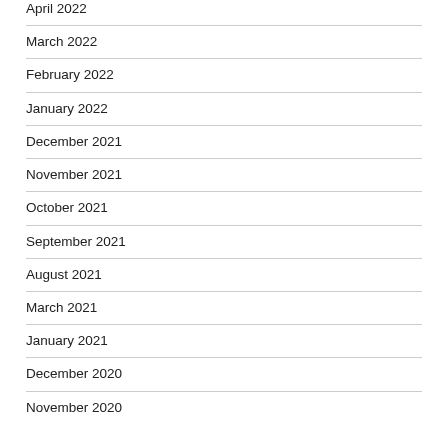April 2022
March 2022
February 2022
January 2022
December 2021
November 2021
October 2021
September 2021
August 2021
March 2021
January 2021
December 2020
November 2020